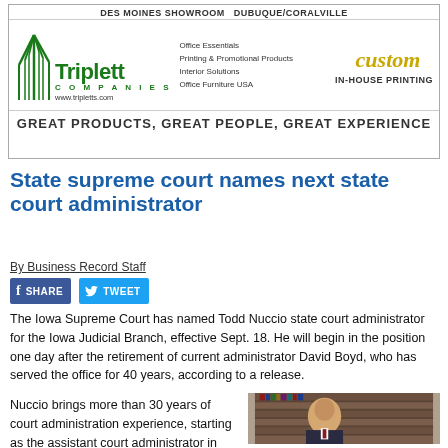[Figure (advertisement): Triplett Companies advertisement banner. Shows logo with green tree icon, text: DES MOINES SHOWROOM DUBUQUE/CORALVILLE, Office Essentials, Printing & Promotional Products, Interior Solutions, Office Furniture USA, www.tripletts.com, custom IN-HOUSE PRINTING. Bottom bar: GREAT PRODUCTS, GREAT PEOPLE, GREAT EXPERIENCE]
State supreme court names next state court administrator
By Business Record Staff
[Figure (infographic): Facebook share and Twitter tweet social sharing buttons]
The Iowa Supreme Court has named Todd Nuccio state court administrator for the Iowa Judicial Branch, effective Sept. 18. He will begin in the position one day after the retirement of current administrator David Boyd, who has served the office for 40 years, according to a release.
Nuccio brings more than 30 years of court administration experience, starting as the assistant court administrator in the 7th Judicial District of Iowa and most recently completing 25 years as the trial court
[Figure (photo): Headshot photo of Todd Nuccio, a middle-aged man in a suit, standing in front of bookshelves filled with law books]